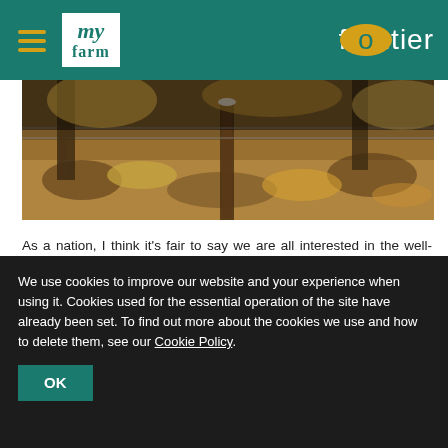my farm / frontier — website header navigation
[Figure (photo): Woodland scene with leaf litter on the ground, trees with bare trunks visible, and a fence post in the middle. Autumn/winter woodland habitat.]
As a nation, I think it's fair to say we are all interested in the well-being of our wildlife, particularly those species which can often be at risk. While looking at some of the more recent bird count results published by the RSPB and the Game and Wildlife Conservation Trust (GWCT), it's clear to see that conservation efforts in the UK are starting to pay back and produce a slow but positive increase in our songbird populations. But the work is far from over.
Continue reading
We use cookies to improve our website and your experience when using it. Cookies used for the essential operation of the site have already been set. To find out more about the cookies we use and how to delete them, see our Cookie Policy.
OK